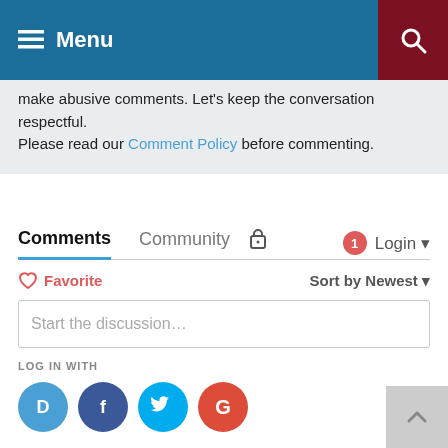Menu
make abusive comments. Let's keep the conversation respectful.
Please read our Comment Policy before commenting.
Comments  Community  Login
Favorite   Sort by Newest
Start the discussion…
LOG IN WITH
[Figure (infographic): Social login icons: Disqus (blue), Facebook (dark blue), Twitter (light blue), Google (red)]
OR SIGN UP WITH DISQUS
Name